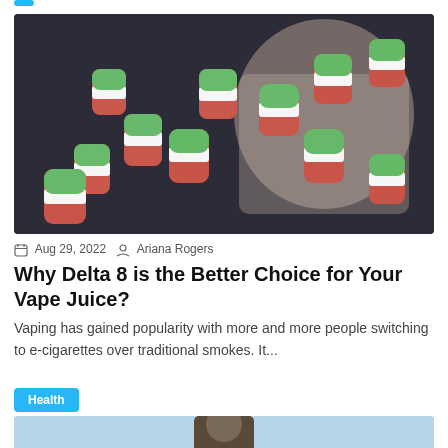[Figure (photo): A jar tipped over spilling red, white and green watermelon-shaped gummy candies onto a dark surface]
Aug 29, 2022  Ariana Rogers
Why Delta 8 is the Better Choice for Your Vape Juice?
Vaping has gained popularity with more and more people switching to e-cigarettes over traditional smokes. It...
Health
[Figure (photo): Partial view of a person at a beach or waterfront, bottom of page]